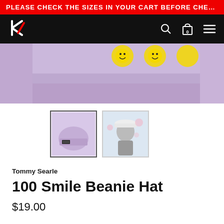PLEASE CHECK THE SIZES IN YOUR CART BEFORE CHECKING OUT - FREE S...
[Figure (logo): K logo and navigation bar with search, cart (0), and menu icons on black background]
[Figure (photo): Close-up of a purple/lavender knit beanie hat with yellow emoji patches along the brim]
[Figure (photo): Thumbnail 1: Purple beanie hat with patch on white background]
[Figure (photo): Thumbnail 2: Person wearing a white cap outdoors]
Tommy Searle
100 Smile Beanie Hat
$19.00